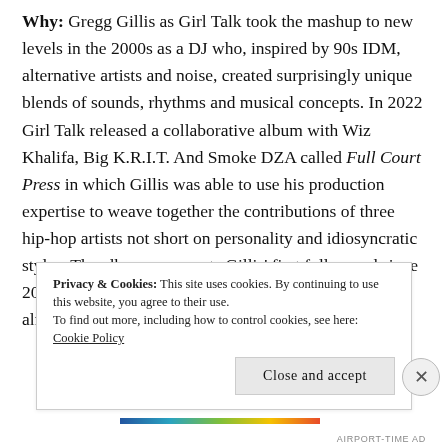Why: Gregg Gillis as Girl Talk took the mashup to new levels in the 2000s as a DJ who, inspired by 90s IDM, alternative artists and noise, created surprisingly unique blends of sounds, rhythms and musical concepts. In 2022 Girl Talk released a collaborative album with Wiz Khalifa, Big K.R.I.T. And Smoke DZA called Full Court Press in which Gillis was able to use his production expertise to weave together the contributions of three hip-hop artists not short on personality and idiosyncratic styles. The album represents Gillis' first full record since 2010's All Day but also one of the higher points of an already interesting
Privacy & Cookies: This site uses cookies. By continuing to use this website, you agree to their use. To find out more, including how to control cookies, see here: Cookie Policy
Close and accept